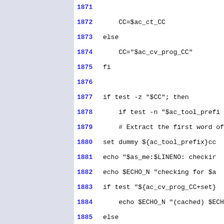1871
1872    CC=$ac_ct_CC
1873 else
1874    CC="$ac_cv_prog_CC"
1875 fi
1876
1877 if test -z "$CC"; then
1878    if test -n "$ac_tool_prefix"
1879    # Extract the first word of
1880 set dummy ${ac_tool_prefix}cc
1881 echo "$as_me:$LINENO: checking
1882 echo $ECHO_N "checking for $a
1883 if test "${ac_cv_prog_CC+set}
1884    echo $ECHO_N "(cached) $ECH
1885 else
1886    if test -n "$CC"; then
1887 ac_cv_prog_CC="$CC" # let t